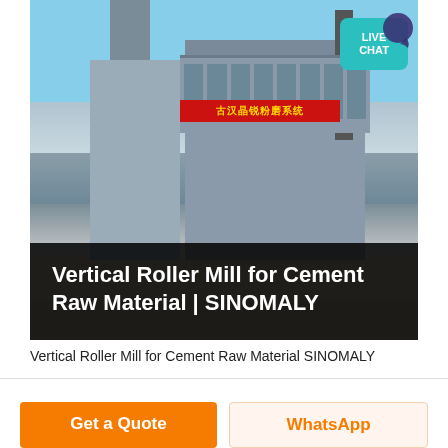[Figure (photo): Aerial view of a large industrial vertical roller mill facility for cement raw material, branded SINOMALY. The facility includes tall industrial buildings with filter/dust collection units on top, silos, a chimney/stack, set against a clear blue sky in an arid landscape. A red banner with Chinese text is visible. A teal 'LIVE CHAT' bubble with a speech icon appears in the upper right corner. An overlay at the bottom of the image reads 'Vertical Roller Mill for Cement Raw Material | SINOMALY' in white bold text on a dark background.]
Vertical Roller Mill for Cement Raw Material SINOMALY
Get a Quote
WhatsApp